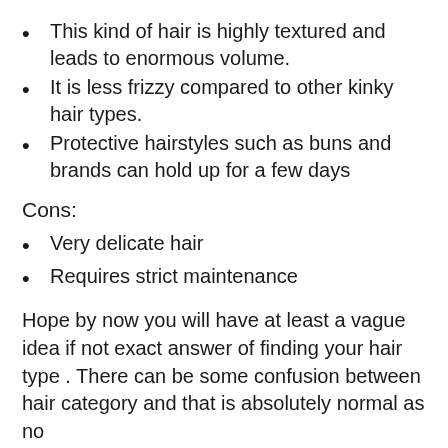This kind of hair is highly textured and leads to enormous volume.
It is less frizzy compared to other kinky hair types.
Protective hairstyles such as buns and brands can hold up for a few days
Cons:
Very delicate hair
Requires strict maintenance
Hope by now you will have at least a vague idea if not exact answer of finding your hair type . There can be some confusion between hair category and that is absolutely normal as no